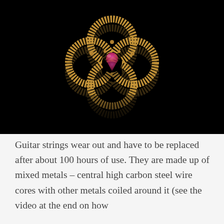[Figure (photo): A four-petal flower-shaped pendant made from coiled guitar strings (golden/bronze colored) with a pink/magenta teardrop gemstone at the center, photographed against a black background with a reflection visible below.]
Guitar strings wear out and have to be replaced after about 100 hours of use. They are made up of mixed metals – central high carbon steel wire cores with other metals coiled around it (see the video at the end on how